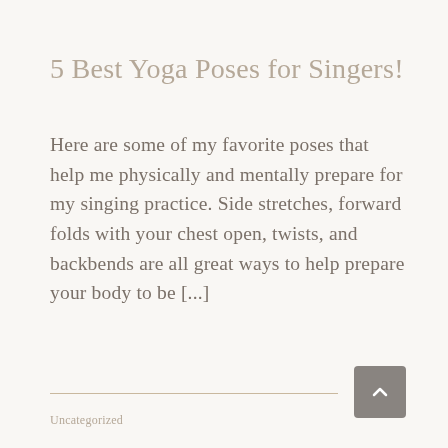5 Best Yoga Poses for Singers!
Here are some of my favorite poses that help me physically and mentally prepare for my singing practice. Side stretches, forward folds with your chest open, twists, and backbends are all great ways to help prepare your body to be [...]
Uncategorized